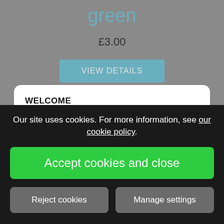green
£3.00
VIEW DETAILS
WELCOME
I hope you enjoy browsing through our lovely range of baby gifts. If you need more information about anything please get in touch.
Our site uses cookies. For more information, see our cookie policy.
Accept cookies and close
Reject cookies
Manage settings